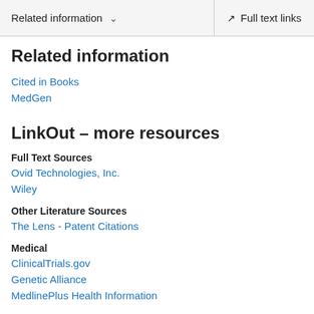Related information  ∨   Full text links
Related information
Cited in Books
MedGen
LinkOut – more resources
Full Text Sources
Ovid Technologies, Inc.
Wiley
Other Literature Sources
The Lens - Patent Citations
Medical
ClinicalTrials.gov
Genetic Alliance
MedlinePlus Health Information